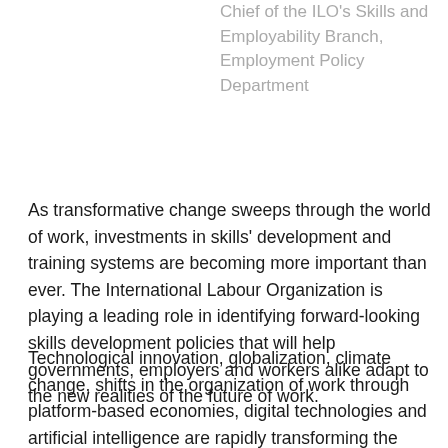Chief of the ILO's Skills and Employability Branch, Employment Policy Department
As transformative change sweeps through the world of work, investments in skills' development and training systems are becoming more important than ever. The International Labour Organization is playing a leading role in identifying forward-looking skills development policies that will help governments, employers and workers alike adapt to the new realities of the future of work.
Technological innovation, globalization, climate change, shifts in the organization of work through platform-based economies, digital technologies and artificial intelligence are rapidly transforming the world of work. These